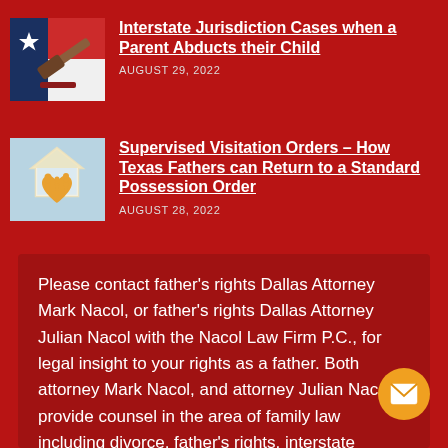Interstate Jurisdiction Cases when a Parent Abducts their Child
AUGUST 29, 2022
[Figure (photo): Gavel on red background with Texas flag]
Supervised Visitation Orders – How Texas Fathers can Return to a Standard Possession Order
AUGUST 28, 2022
[Figure (photo): Paper cutout family figures with heart and house on blue background]
Please contact father's rights Dallas Attorney Mark Nacol, or father's rights Dallas Attorney Julian Nacol with the Nacol Law Firm P.C., for legal insight to your rights as a father. Both attorney Mark Nacol, and attorney Julian Nacol , provide counsel in the area of family law including divorce, father's rights, interstate jurisdiction, child supp child custody, visitation, paternity, parent alienation, modifications, property division, asset division and more